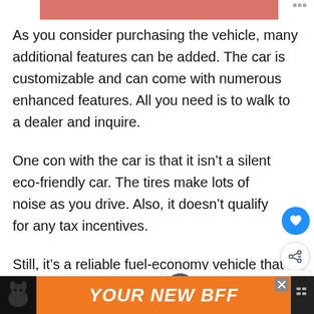[Figure (other): Partial pink/salmon colored image at top of page with a small icon in top right corner]
As you consider purchasing the vehicle, many additional features can be added. The car is customizable and can come with numerous enhanced features. All you need is to walk to a dealer and inquire.
One con with the car is that it isn’t a silent eco-friendly car. The tires make lots of noise as you drive. Also, it doesn’t qualify for any tax incentives.
Still, it’s a reliable fuel-economy vehicle that comes with basic and power train warranties. The p...
[Figure (other): What's Next card showing '10 Sustainable Eco-Friendly...' with a thumbnail image]
[Figure (other): Advertisement banner at the bottom: orange background with dog image and text 'YOUR NEW BFF']